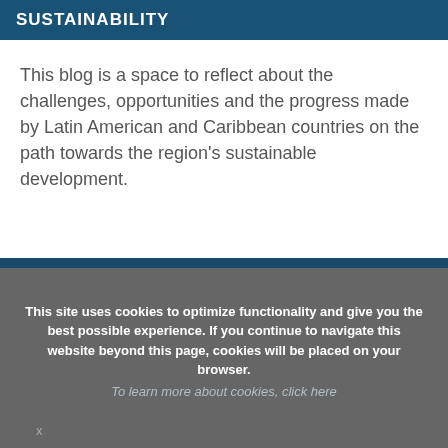SUSTAINABILITY
This blog is a space to reflect about the challenges, opportunities and the progress made by Latin American and Caribbean countries on the path towards the region's sustainable development.
This site uses cookies to optimize functionality and give you the best possible experience. If you continue to navigate this website beyond this page, cookies will be placed on your browser.
To learn more about cookies, click here
x